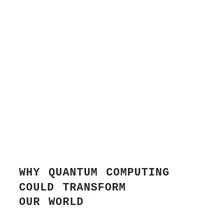WHY QUANTUM COMPUTING COULD TRANSFORM OUR WORLD